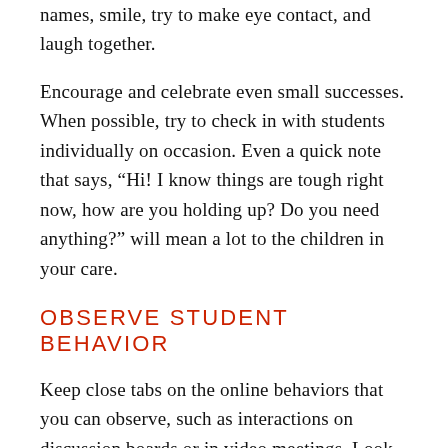names, smile, try to make eye contact, and laugh together.
Encourage and celebrate even small successes. When possible, try to check in with students individually on occasion. Even a quick note that says, “Hi! I know things are tough right now, how are you holding up? Do you need anything?” will mean a lot to the children in your care.
OBSERVE STUDENT BEHAVIOR
Keep close tabs on the online behaviors that you can observe, such as interactions on discussion boards or in video meetings. Look